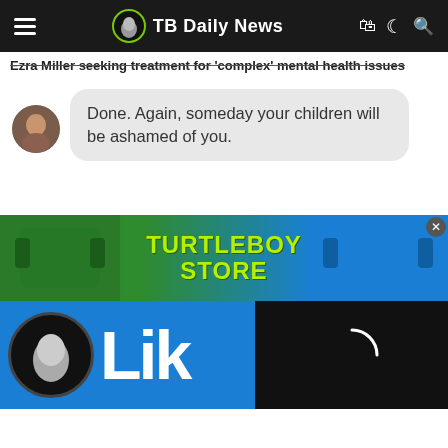TB Daily News
Ezra Miller seeking treatment for 'complex' mental health issues
Done. Again, someday your children will be ashamed of you.
[Figure (screenshot): Advertisement banner for Turtleboy Store showing green and blue t-shirts with logo]
[Figure (screenshot): Bottom section showing Turtleboy logo on blue background with 'Lik' text, and a loading spinner on black background]